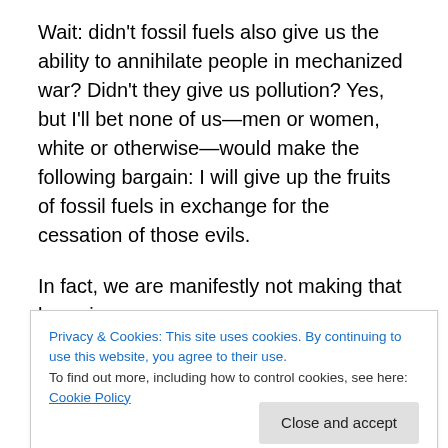Wait: didn't fossil fuels also give us the ability to annihilate people in mechanized war? Didn't they give us pollution? Yes, but I'll bet none of us—men or women, white or otherwise—would make the following bargain: I will give up the fruits of fossil fuels in exchange for the cessation of those evils.
In fact, we are manifestly not making that bargain.
So powerful was this good—transportation opening up new farmland, technology providing more abundant food, better shelter, more comfort, electricity, and medicine—
Privacy & Cookies: This site uses cookies. By continuing to use this website, you agree to their use.
To find out more, including how to control cookies, see here: Cookie Policy
that gave rise to The Way Things Are completely invert, as